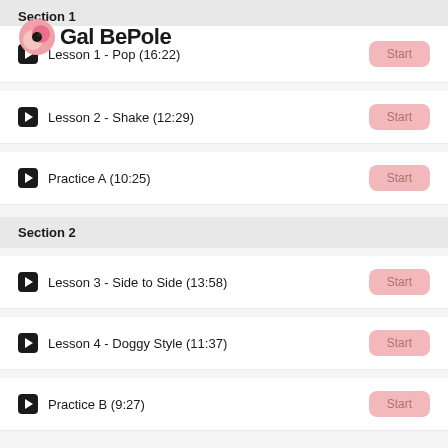Section 1
[Figure (logo): Gal BePole logo with peach/pink circular icon and bold text]
Lesson 1 - Pop (16:22)
Lesson 2 - Shake (12:29)
Practice A (10:25)
Section 2
Lesson 3 - Side to Side (13:58)
Lesson 4 - Doggy Style (11:37)
Practice B (9:27)